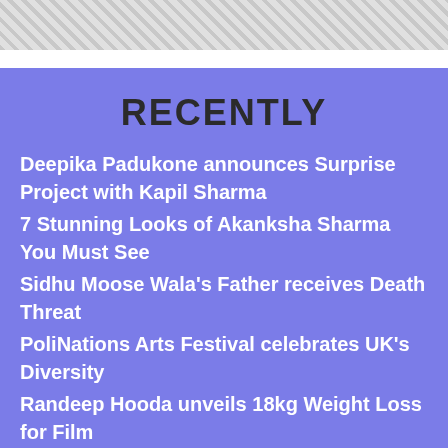[Figure (other): Diagonal striped pattern banner at the top of the page]
RECENTLY
Deepika Padukone announces Surprise Project with Kapil Sharma
7 Stunning Looks of Akanksha Sharma You Must See
Sidhu Moose Wala's Father receives Death Threat
PoliNations Arts Festival celebrates UK's Diversity
Randeep Hooda unveils 18kg Weight Loss for Film
ABOUT US
English (language selector)
DESIblitz Shop
Advertise with Us
About DESIblitz